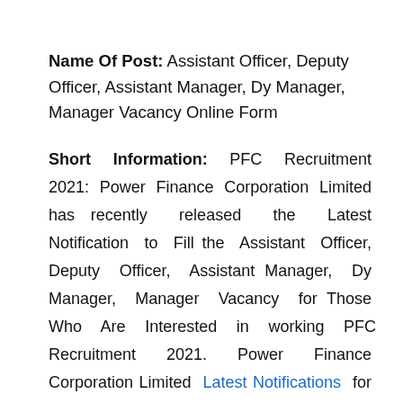Name Of Post: Assistant Officer, Deputy Officer, Assistant Manager, Dy Manager, Manager Vacancy Online Form
Short Information: PFC Recruitment 2021: Power Finance Corporation Limited has recently released the Latest Notification to Fill the Assistant Officer, Deputy Officer, Assistant Manager, Dy Manager, Manager Vacancy for Those Who Are Interested in working PFC Recruitment 2021. Power Finance Corporation Limited Latest Notifications for the Posts of Assistant Officer, Deputy Officer, Assistant Manager, Dy Manager, Manager Vacancy, Candidates Can Apply for PFC Vacancy